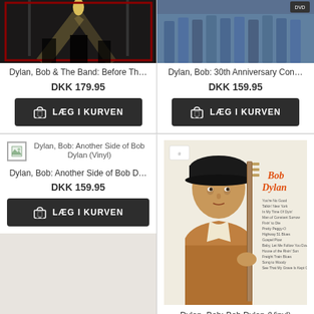[Figure (photo): Dark concert photo - Dylan Bob & The Band: Before The Flood]
Dylan, Bob & The Band: Before Th…
DKK 179.95
LÆG I KURVEN
[Figure (photo): Blue-toned group photo - Dylan Bob: 30th Anniversary Con…]
Dylan, Bob: 30th Anniversary Con…
DKK 159.95
LÆG I KURVEN
[Figure (other): Broken image placeholder for Dylan Bob: Another Side of Bob Dylan (Vinyl)]
Dylan, Bob: Another Side of Bob D…
DKK 159.95
LÆG I KURVEN
[Figure (photo): Album cover photo of Bob Dylan holding guitar - Bob Dylan self-titled vinyl]
Dylan, Bob: Bob Dylan (Vinyl)
DKK 159.95
LÆG I KURVEN